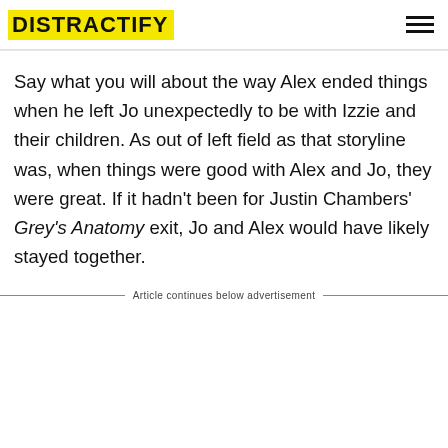DISTRACTIFY
Say what you will about the way Alex ended things when he left Jo unexpectedly to be with Izzie and their children. As out of left field as that storyline was, when things were good with Alex and Jo, they were great. If it hadn't been for Justin Chambers' Grey's Anatomy exit, Jo and Alex would have likely stayed together.
Article continues below advertisement